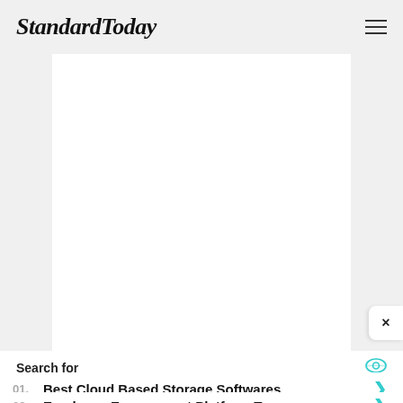StandardToday
[Figure (other): Large white content/ad area placeholder]
×
Search for
01. Best Cloud Based Storage Softwares
02. Employee Engagement Platform Top
Yahoo! Search | Sponsored